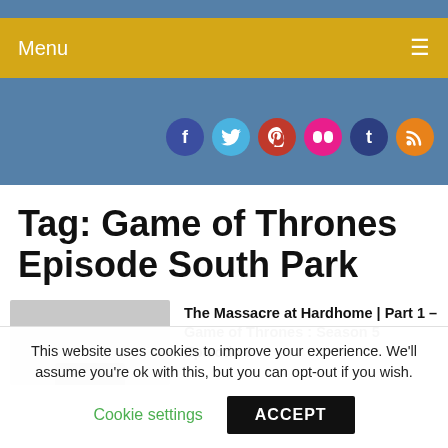Menu
[Figure (other): Social media icon buttons: Facebook, Twitter, Pinterest, Flickr, Tumblr, RSS]
Tag: Game of Thrones Episode South Park
[Figure (photo): Thumbnail image with gray background]
The Massacre at Hardhome | Part 1 – Game of Thrones : Season 5 Episode 8
This website uses cookies to improve your experience. We'll assume you're ok with this, but you can opt-out if you wish.
Cookie settings  ACCEPT